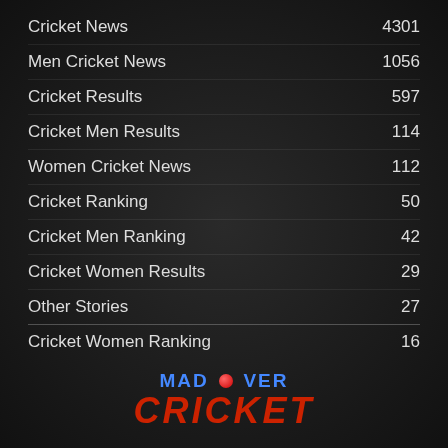Cricket News  4301
Men Cricket News  1056
Cricket Results  597
Cricket Men Results  114
Women Cricket News  112
Cricket Ranking  50
Cricket Men Ranking  42
Cricket Women Results  29
Other Stories  27
Cricket Women Ranking  16
[Figure (logo): Mad Over Cricket logo with blue 'MAD OVER' text and red 'CRICKET' text, with a red cricket ball icon]